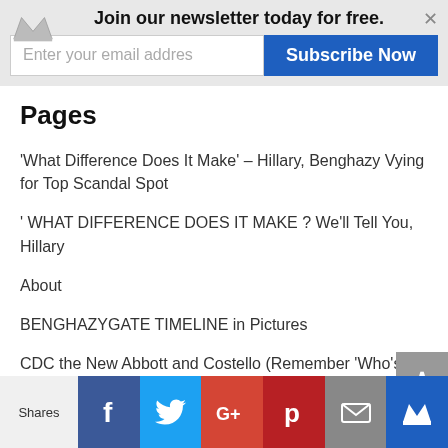Join our newsletter today for free.
'What Difference Does It Make' – Hillary, Benghazy Vying for Top Scandal Spot
' WHAT DIFFERENCE DOES IT MAKE ? We'll Tell You, Hillary
About
BENGHAZYGATE TIMELINE in Pictures
CDC the New Abbott and Costello (Remember 'Who's On First?)
CONTACT US
Famous ROAD TO SUCCESS Poster, Motivational
Shares